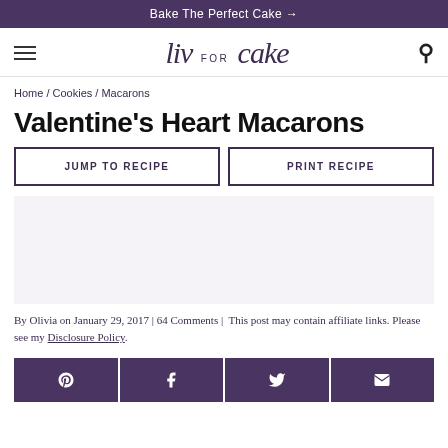Bake The Perfect Cake →
[Figure (logo): liv for cake logo in stylized script font with hamburger menu icon on left and search icon on right]
Home / Cookies / Macarons
Valentine's Heart Macarons
JUMP TO RECIPE
PRINT RECIPE
By Olivia on January 29, 2017 | 64 Comments |  This post may contain affiliate links. Please see my Disclosure Policy.
[Figure (infographic): Social share buttons: Pinterest, Facebook, Twitter, Email on dark purple background]